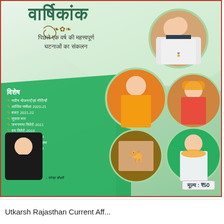वार्षिकांक
पिछले एक वर्ष की महत्त्वपूर्ण घटनाओं का संकलन
विशेष
नवीन योजनाएँ एवं नीतियाँ
आर्थिक समीक्षा 2020-21
बजट 2021-22
सुजस भार
जनगणना रिपोर्ट-2011
वन रिपोर्ट-2019
पशु गणना रिपोर्ट-2019
राजस्थान की परिविधिसभ
राजस्थान में कौन,क्या?
महत्त्वपूर्ण पुरस्कार
[Figure (photo): Magazine cover showing various people in circular photo frames on a green background, including a woman in athletic wear, a woman in yellow saree, an elderly man in traditional Rajasthani attire, a camel procession scene, and a man with garlands.]
- नरेन्द्र चौधरी
मूल्य : ₹50
Utkarsh Rajasthan Current Aff...